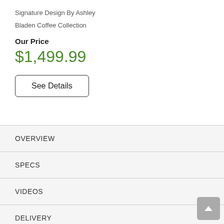Signature Design By Ashley
Bladen Coffee Collection
Our Price
$1,499.99
See Details
OVERVIEW
SPECS
VIDEOS
DELIVERY
WARRANTY